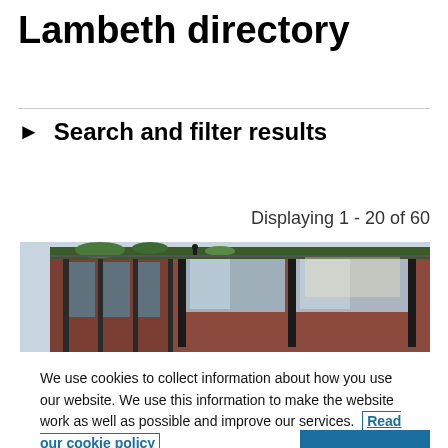Lambeth directory
▶ Search and filter results
Displaying 1 - 20 of 60
[Figure (photo): Photograph of a modern brick building with large glass windows and a rooftop terrace, viewed from below at an angle against a light sky.]
We use cookies to collect information about how you use our website. We use this information to make the website work as well as possible and improve our services. Read our cookie policy